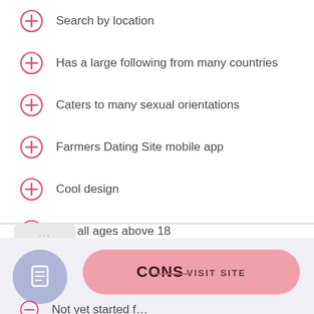Search by location
Has a large following from many countries
Caters to many sexual orientations
Farmers Dating Site mobile app
Cool design
For all ages above 18
Has multiple upgrades
CONS
Not yet started f...